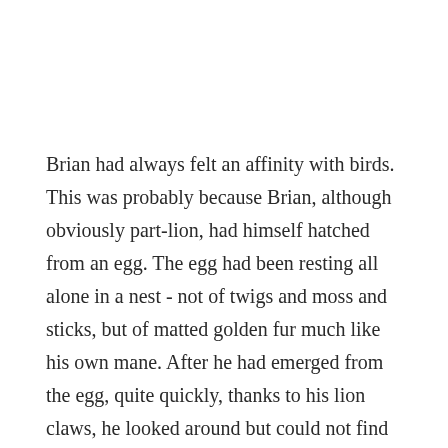Brian had always felt an affinity with birds. This was probably because Brian, although obviously part-lion, had himself hatched from an egg. The egg had been resting all alone in a nest - not of twigs and moss and sticks, but of matted golden fur much like his own mane. After he had emerged from the egg, quite quickly, thanks to his lion claws, he looked around but could not find any sign of a jubilant parent, or even a note welcoming him to the world, so he climbed awkwardly down the tree and set out for life, which was fortunately signposted. He soon discovered that when he encountered birds, a curious energy was created between them, and sometimes nearby